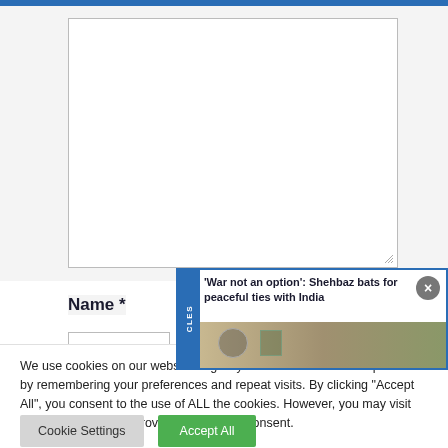[Figure (screenshot): Website form with a large textarea input box, partially visible in the upper portion of the page]
Name *
[Figure (screenshot): News popup overlay showing headline: 'War not an option': Shehbaz bats for peaceful ties with India, with a blue sidebar showing 'CLES', a close X button, and a thumbnail image of people]
We use cookies on our website to give you the most relevant experience by remembering your preferences and repeat visits. By clicking "Accept All", you consent to the use of ALL the cookies. However, you may visit "Cookie Settings" to provide a controlled consent.
Cookie Settings
Accept All